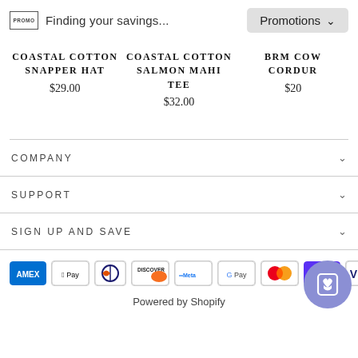Finding your savings...
COASTAL COTTON SNAPPER HAT $29.00
COASTAL COTTON SALMON MAHI TEE $32.00
BRM COW CORDUR $20
COMPANY
SUPPORT
SIGN UP AND SAVE
[Figure (other): Payment method icons: AMEX, Apple Pay, Diners Club, Discover, Meta Pay, Google Pay, Mastercard, Shop Pay, Visa]
Powered by Shopify